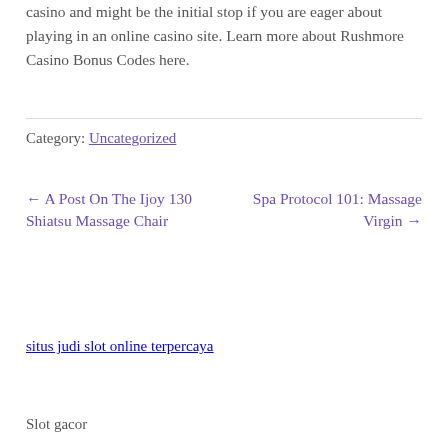casino and might be the initial stop if you are eager about playing in an online casino site. Learn more about Rushmore Casino Bonus Codes here.
Category: Uncategorized
← A Post On The Ijoy 130 Shiatsu Massage Chair
Spa Protocol 101: Massage Virgin →
situs judi slot online terpercaya
Slot gacor